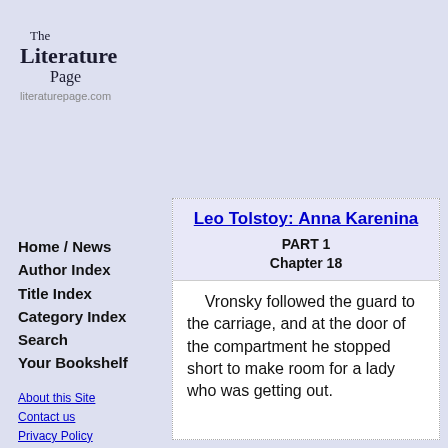The Literature Page
literaturepage.com
Home / News
Author Index
Title Index
Category Index
Search
Your Bookshelf
About this Site
Contact us
Privacy Policy
Copyright Info
Leo Tolstoy: Anna Karenina
PART 1
Chapter 18
Vronsky followed the guard to the carriage, and at the door of the compartment he stopped short to make room for a lady who was getting out.